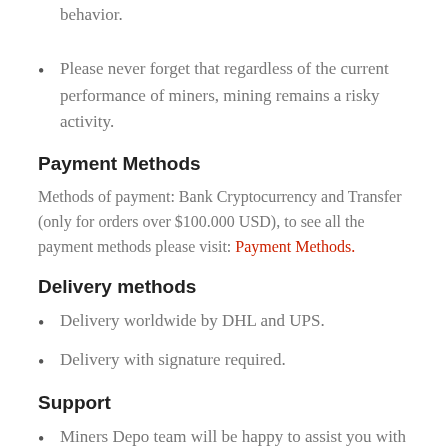behavior.
Please never forget that regardless of the current performance of miners, mining remains a risky activity.
Payment Methods
Methods of payment: Bank Cryptocurrency and Transfer (only for orders over $100.000 USD), to see all the payment methods please visit: Payment Methods.
Delivery methods
Delivery worldwide by DHL and UPS.
Delivery with signature required.
Support
Miners Depo team will be happy to assist you with the handling of your